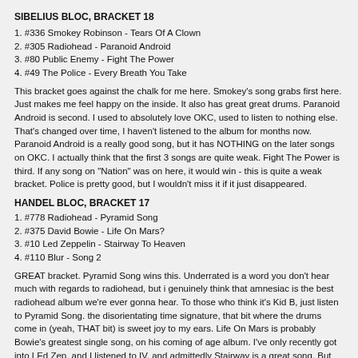SIBELIUS BLOC, BRACKET 18
1. #336 Smokey Robinson - Tears Of A Clown
2. #305 Radiohead - Paranoid Android
3. #80 Public Enemy - Fight The Power
4. #49 The Police - Every Breath You Take
This bracket goes against the chalk for me here. Smokey's song grabs first here. Just makes me feel happy on the inside. It also has great great drums. Paranoid Android is second. I used to absolutely love OKC, used to listen to nothing else. That's changed over time, I haven't listened to the album for months now. Paranoid Android is a really good song, but it has NOTHING on the later songs on OKC. I actually think that the first 3 songs are quite weak. Fight The Power is third. If any song on "Nation" was on here, it would win - this is quite a weak bracket. Police is pretty good, but I wouldn't miss it if it just disappeared.
HANDEL BLOC, BRACKET 17
1. #778 Radiohead - Pyramid Song
2. #375 David Bowie - Life On Mars?
3. #10 Led Zeppelin - Stairway To Heaven
4. #110 Blur - Song 2
GREAT bracket. Pyramid Song wins this. Underrated is a word you don't hear much with regards to radiohead, but i genuinely think that amnesiac is the best radiohead album we're ever gonna hear. To those who think it's Kid B, just listen to Pyramid Song. the disorientating time signature, that bit where the drums come in (yeah, THAT bit) is sweet joy to my ears. Life On Mars is probably Bowie's greatest single song, on his coming of age album. I've only recently got into LEd Zep, and I listened to IV, and admittedly Stairway is a great song. But what I have issue with; the first part sets up the second part brilliantly, however the first part is Led Zep being decidedly un-zeppy. Is that why I like it, because it's Led Zep not being like Led Zep? I don't know what to think about it. Also I think the true epic on IV is "Levee". Song 2 is just unfortunate. I was going to put it 3rd, but then I listened to reason.
CHOPIN BLOC, BRACKET 18